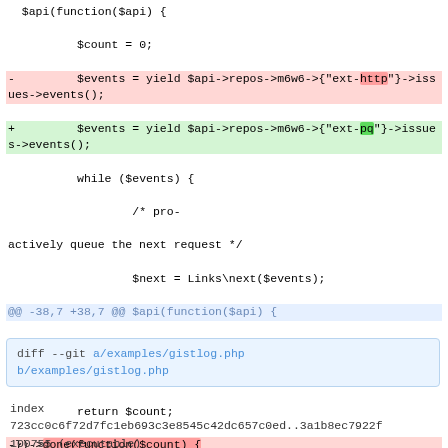$api(function($api) {
        $count = 0;
-       $events = yield $api->repos->m6w6->{"ext-http"}->issues->events();
+       $events = yield $api->repos->m6w6->{"ext-pq"}->issues->events();
        while ($events) {
                /* pro-actively queue the next request */
                $next = Links\next($events);
@@ -38,7 +38,7 @@ $api(function($api) {
                $events = yield $next;
        }
        return $count;
-})->done(function($count) {
+})->when(function($error, $count) {
        printf("Listed %d events\n", $count);
 });

diff --git a/examples/gistlog.php b/examples/gistlog.php

index
723cc0c6f72d7fc1eb693c3e8545c42dc657c0ed..3a1b8ec7922f
100755 (executable)